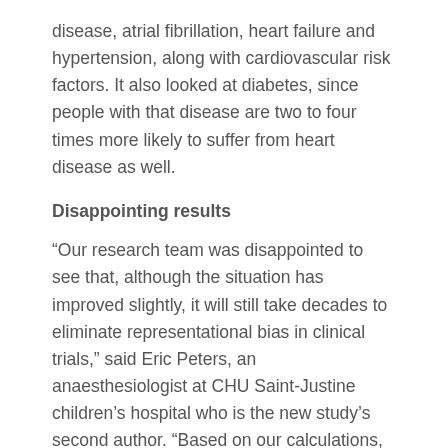disease, atrial fibrillation, heart failure and hypertension, along with cardiovascular risk factors. It also looked at diabetes, since people with that disease are two to four times more likely to suffer from heart disease as well.
Disappointing results
“Our research team was disappointed to see that, although the situation has improved slightly, it will still take decades to eliminate representational bias in clinical trials,” said Eric Peters, an anaesthesiologist at CHU Saint-Justine children’s hospital who is the new study’s second author. “Based on our calculations, it’ll be another 90 years before parity is achieved in studies on coronary heart disease. And that’s before we factor in population-ageing, which is accelerating.”
In the 500 clinical studies they analyzed, the team found